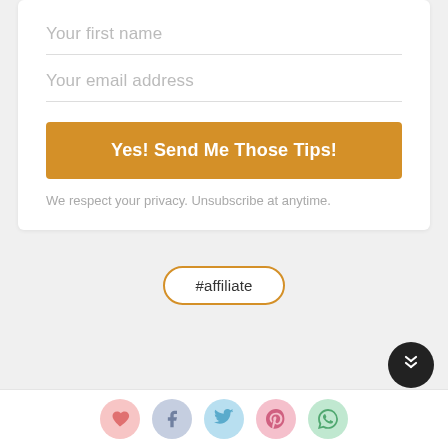Your first name
Your email address
Yes! Send Me Those Tips!
We respect your privacy. Unsubscribe at anytime.
#affiliate
[Figure (illustration): Back to top button - dark circle with upward chevrons]
[Figure (illustration): Social sharing icons row: heart (pink), Facebook (blue-grey), Twitter (light blue), Pinterest (pink), WhatsApp (green)]